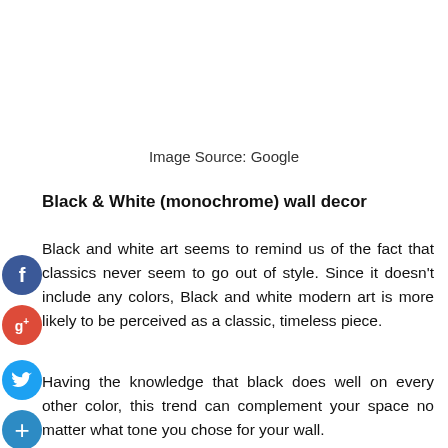Image Source: Google
Black & White (monochrome) wall decor
Black and white art seems to remind us of the fact that classics never seem to go out of style. Since it doesn’t include any colors, Black and white modern art is more likely to be perceived as a classic, timeless piece.
Having the knowledge that black does well on every other color, this trend can complement your space no matter what tone you chose for your wall.
Black and white abstract art doesn’t seem to be leaving the center stage any time soon. Monochromatic art